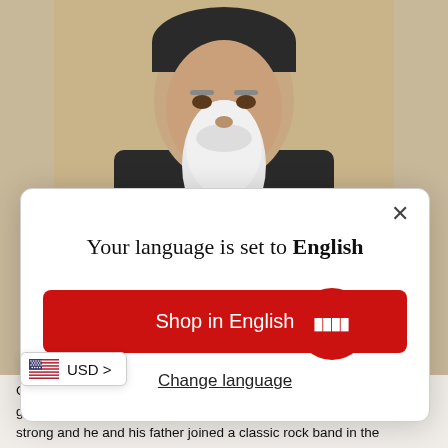[Figure (photo): Screenshot of a webpage showing a man with a long white beard and dark beanie hat, partially obscured by a modal dialog popup.]
Your language is set to English
Shop in English
Change language
Chris played in his first band at the age [though his f...] play guitar, the allure of drums was too strong and he and his father joined a classic rock band in the